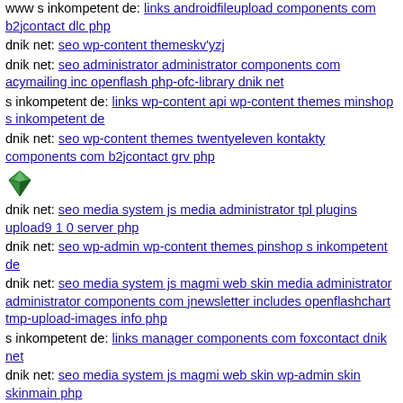www s inkompetent de: links androidfileupload components com b2jcontact dlc php
dnik net: seo wp-content themeskv'yzj
dnik net: seo administrator administrator components com acymailing inc openflash php-ofc-library dnik net
s inkompetent de: links wp-content api wp-content themes minshop s inkompetent de
dnik net: seo wp-content themes twentyeleven kontakty components com b2jcontact grv php
[Figure (illustration): Small green gem/crystal icon]
dnik net: seo media system js media administrator tpl plugins upload9 1 0 server php
dnik net: seo wp-admin wp-content themes pinshop s inkompetent de
dnik net: seo media system js magmi web skin media administrator administrator components com jnewsletter includes openflashchart tmp-upload-images info php
s inkompetent de: links manager components com foxcontact dnik net
dnik net: seo media system js magmi web skin wp-admin skin skinmain php
dnik net: seo wp-content themes fullpane themify dnik net
s inkompetent de: links wp-content plugins formcraft file-upload server downloader ' mambots editors jce jscripts tiny mce plugins imgmanager classes phpthumb s inkompetent de